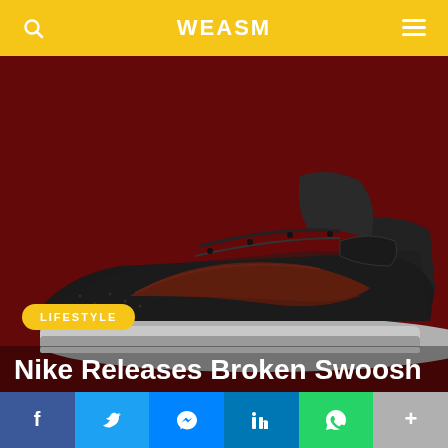WEASM
[Figure (photo): A black Nike sneaker with a dark red/maroon Swoosh logo on a dark red background. The shoe features textured leather upper, white midsole, and visible lace area.]
LIFESTYLE
Nike Releases Broken Swoosh
Social share bar: Facebook, Twitter, Messenger, LinkedIn, WhatsApp, More